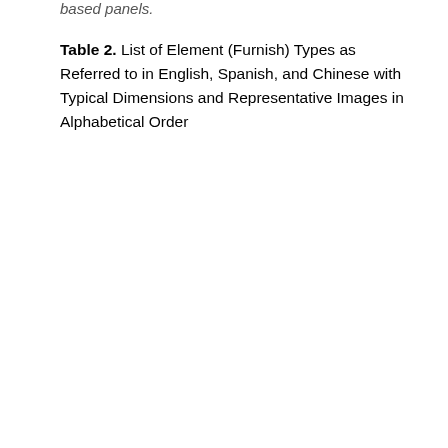based panels.
Table 2. List of Element (Furnish) Types as Referred to in English, Spanish, and Chinese with Typical Dimensions and Representative Images in Alphabetical Order